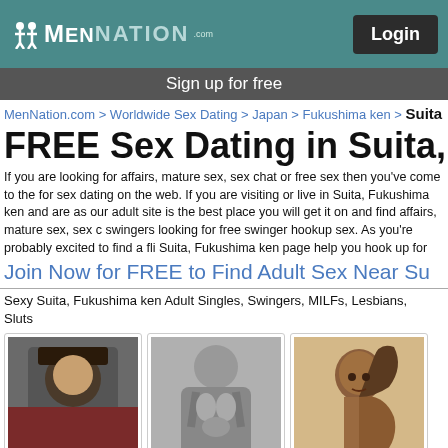[Figure (logo): MenNation logo with teal background and Login button]
Sign up for free
MenNation.com > Worldwide Sex Dating > Japan > Fukushima ken > Suita
FREE Sex Dating in Suita, Fuku
If you are looking for affairs, mature sex, sex chat or free sex then you've come to the for sex dating on the web. If you are visiting or live in Suita, Fukushima ken and are as our adult site is the best place you will get it on and find affairs, mature sex, sex c swingers looking for free swinger hookup sex. As you're probably excited to find a fli Suita, Fukushima ken page help you hook up for hot sex quickly with sexy swingers,
Join Now for FREE to Find Adult Sex Near Su
Sexy Suita, Fukushima ken Adult Singles, Swingers, MILFs, Lesbians, Sluts
[Figure (photo): Profile photo of Quagga32, 29/M, Suita Fukushima Ken - person wearing cowboy hat]
[Figure (photo): Profile photo of hullguy1000, 28/M - black and white torso photo]
[Figure (photo): Profile photo of safeandrouf69, 23/M - person with long hair smiling]